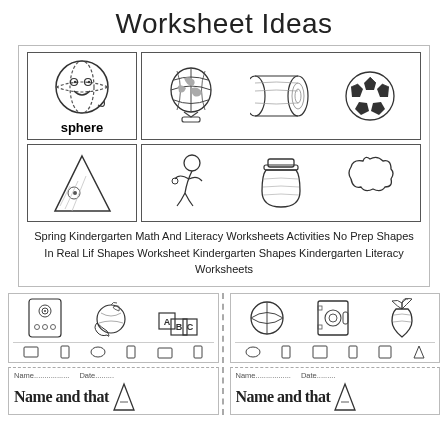Worksheet Ideas
[Figure (illustration): Kindergarten shapes worksheet showing sphere cartoon with label, globe, log, and soccer ball in top row; triangle cartoon with person, jar, and speech bubble in bottom row]
Spring Kindergarten Math And Literacy Worksheets Activities No Prep Shapes In Real Lif Shapes Worksheet Kindergarten Shapes Kindergarten Literacy Worksheets
[Figure (illustration): Two kindergarten shape-matching worksheet thumbnails side by side. Left: speaker, orange, ABC blocks with shape choices below. Right: basketball, safe/vault, carrot with shape choices below.]
[Figure (illustration): Two kindergarten worksheet thumbnails with Name and Date lines and partial text 'Name....... Date.......' with decorative cone/triangle shape visible]